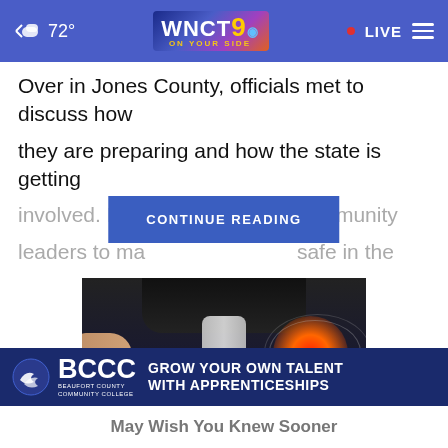72° WNCT 9 ON YOUR SIDE • LIVE
Over in Jones County, officials met to discuss how they are preparing and how the state is getting involved. It's a community leaders to make safe in the
CONTINUE READING
[Figure (photo): Medical illustration of hip/joint pain area with glowing red pain indicator and hands holding the area]
BCCC BEAUFORT COUNTY COMMUNITY COLLEGE GROW YOUR OWN TALENT WITH APPRENTICESHIPS
May Wish You Knew Sooner